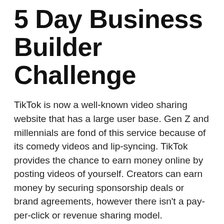5 Day Business Builder Challenge
TikTok is now a well-known video sharing website that has a large user base. Gen Z and millennials are fond of this service because of its comedy videos and lip-syncing. TikTok provides the chance to earn money online by posting videos of yourself. Creators can earn money by securing sponsorship deals or brand agreements, however there isn't a pay-per-click or revenue sharing model.
Great Side Hustle
The...